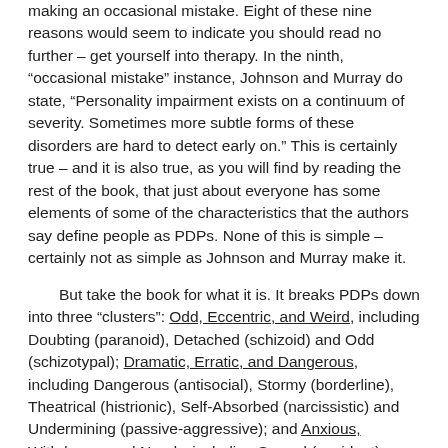making an occasional mistake. Eight of these nine reasons would seem to indicate you should read no further – get yourself into therapy. In the ninth, "occasional mistake" instance, Johnson and Murray do state, "Personality impairment exists on a continuum of severity. Sometimes more subtle forms of these disorders are hard to detect early on." This is certainly true – and it is also true, as you will find by reading the rest of the book, that just about everyone has some elements of some of the characteristics that the authors say define people as PDPs. None of this is simple – certainly not as simple as Johnson and Murray make it.
But take the book for what it is. It breaks PDPs down into three "clusters": Odd, Eccentric, and Weird, including Doubting (paranoid), Detached (schizoid) and Odd (schizotypal); Dramatic, Erratic, and Dangerous, including Dangerous (antisocial), Stormy (borderline), Theatrical (histrionic), Self-Absorbed (narcissistic) and Undermining (passive-aggressive); and Anxious, Withdrawn, and Needy, including Scared (avoidant), Sticky (dependent), Rigid (obsessive-compulsive) and Glum (depressive). There is overlap aplenty among these categories in everyday life,